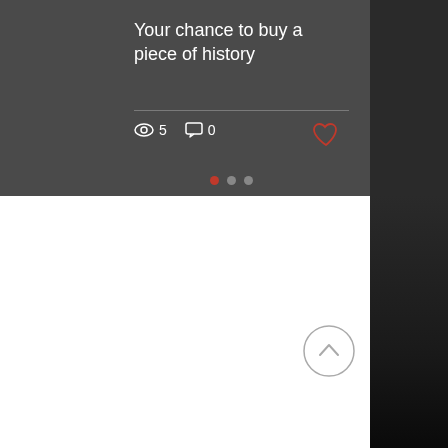[Figure (screenshot): Dark UI card showing blog post preview with title 'Your chance to buy a piece of history', view count 5, comment count 0, heart/like button, pagination dots, and a back-to-top arrow button. Right side shows dark landscape background image.]
Your chance to buy a piece of history